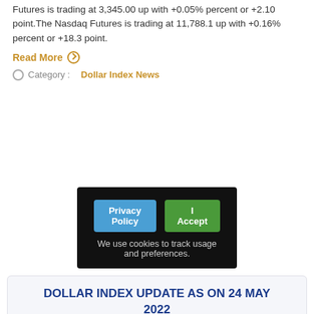Futures is trading at 3,345.00 up with +0.05% percent or +2.10 point.The Nasdaq Futures is trading at 11,788.1 up with +0.16% percent or +18.3 point.
Read More ⊙
⊙  Category : Dollar Index News
[Figure (other): Cookie consent banner with Privacy Policy and I Accept buttons and text: We use cookies to track usage and preferences.]
DOLLAR INDEX UPDATE AS ON 24 MAY 2022
Dollar Index Update : 24 May 2022 The U.S.Dollar Index  is trading at 101.99 with a loss of -0.08% percent or -0.08point.The